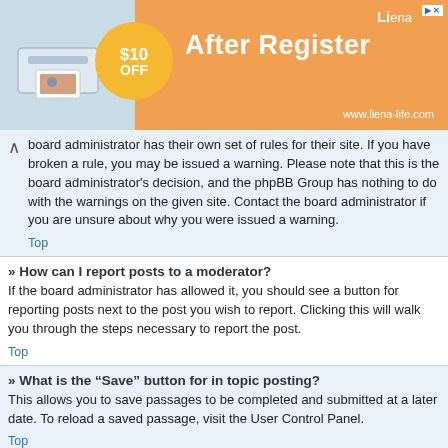[Figure (other): Advertisement banner for Liena photo printer showing $10 OFF after register offer at www.liena-life.com]
board administrator has their own set of rules for their site. If you have broken a rule, you may be issued a warning. Please note that this is the board administrator's decision, and the phpBB Group has nothing to do with the warnings on the given site. Contact the board administrator if you are unsure about why you were issued a warning.
Top
» How can I report posts to a moderator?
If the board administrator has allowed it, you should see a button for reporting posts next to the post you wish to report. Clicking this will walk you through the steps necessary to report the post.
Top
» What is the “Save” button for in topic posting?
This allows you to save passages to be completed and submitted at a later date. To reload a saved passage, visit the User Control Panel.
Top
» Why does my post need to be approved?
The board administrator may have decided that posts in the forum you are posting to require review before submission. It is also possible that the administrator has placed you in a group of users whose posts require review before submission. Please contact the board